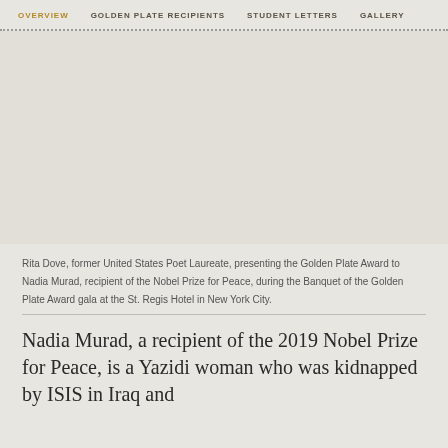OVERVIEW  GOLDEN PLATE RECIPIENTS  STUDENT LETTERS  GALLERY
[Figure (photo): Photo of Rita Dove presenting the Golden Plate Award to Nadia Murad at the St. Regis Hotel in New York City (image area appears blank/light in this render)]
Rita Dove, former United States Poet Laureate, presenting the Golden Plate Award to Nadia Murad, recipient of the Nobel Prize for Peace, during the Banquet of the Golden Plate Award gala at the St. Regis Hotel in New York City.
Nadia Murad, a recipient of the 2019 Nobel Prize for Peace, is a Yazidi woman who was kidnapped by ISIS in Iraq and